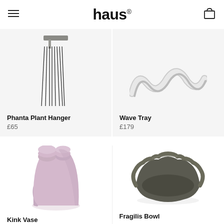haus®
[Figure (photo): Phanta Plant Hanger product image — metal hook with hanging black cord fronds]
Phanta Plant Hanger
£65
[Figure (photo): Wave Tray product image — wavy white/silver decorative tray viewed from above]
Wave Tray
£179
[Figure (photo): Kink Vase product image — pink/lilac double-opening cylindrical vase with curved notch]
Kink Vase
[Figure (photo): Fragilis Bowl product image — dark olive/charcoal wide ruffled bowl with wavy edges]
Fragilis Bowl